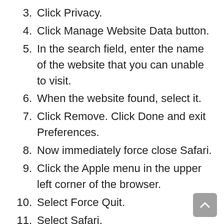3. Click Privacy.
4. Click Manage Website Data button.
5. In the search field, enter the name of the website that you can unable to visit.
6. When the website found, select it.
7. Click Remove. Click Done and exit Preferences.
8. Now immediately force close Safari.
9. Click the Apple menu in the upper left corner of the browser.
10. Select Force Quit.
11. Select Safari.
12. And click the Force Quit button.
13. Now visit the redirecting website to see if